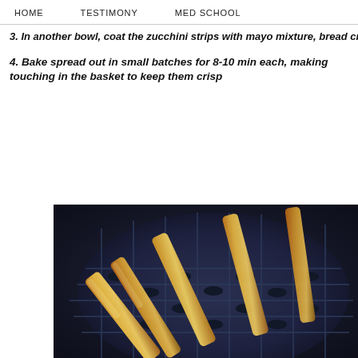HOME   TESTIMONY   MED SCHOOL
3. In another bowl, coat the zucchini strips with mayo mixture, then bread crumb mixture
4. Bake spread out in small batches for 8-10 min each, making sure they aren't touching in the basket to keep them crisp
[Figure (photo): Breaded zucchini fries/strips cooking in an air fryer basket, golden brown and crispy, arranged in a circular dark blue/gray air fryer basket]